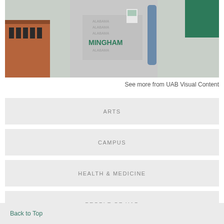[Figure (photo): Person wearing a Birmingham, Alabama t-shirt with an ID badge, standing outdoors near a campus building with brick architecture and green signage.]
See more from UAB Visual Content
ARTS
CAMPUS
HEALTH & MEDICINE
PEOPLE OF UAB
RESEARCH
Back to Top